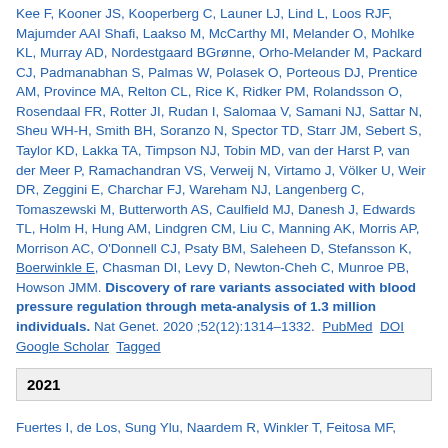Kee F, Kooner JS, Kooperberg C, Launer LJ, Lind L, Loos RJF, Majumder AAI Shafi, Laakso M, McCarthy MI, Melander O, Mohlke KL, Murray AD, Nordestgaard BGrønne, Orho-Melander M, Packard CJ, Padmanabhan S, Palmas W, Polasek O, Porteous DJ, Prentice AM, Province MA, Relton CL, Rice K, Ridker PM, Rolandsson O, Rosendaal FR, Rotter JI, Rudan I, Salomaa V, Samani NJ, Sattar N, Sheu WH-H, Smith BH, Soranzo N, Spector TD, Starr JM, Sebert S, Taylor KD, Lakka TA, Timpson NJ, Tobin MD, van der Harst P, van der Meer P, Ramachandran VS, Verweij N, Virtamo J, Völker U, Weir DR, Zeggini E, Charchar FJ, Wareham NJ, Langenberg C, Tomaszewski M, Butterworth AS, Caulfield MJ, Danesh J, Edwards TL, Holm H, Hung AM, Lindgren CM, Liu C, Manning AK, Morris AP, Morrison AC, O'Donnell CJ, Psaty BM, Saleheen D, Stefansson K, Boerwinkle E, Chasman DI, Levy D, Newton-Cheh C, Munroe PB, Howson JMM. Discovery of rare variants associated with blood pressure regulation through meta-analysis of 1.3 million individuals. Nat Genet. 2020 ;52(12):1314–1332. PubMed DOI Google Scholar Tagged
2021
Fuertes I, de Los, Sung Ylu, Naardem R, Winkler T, Feitosa MF,